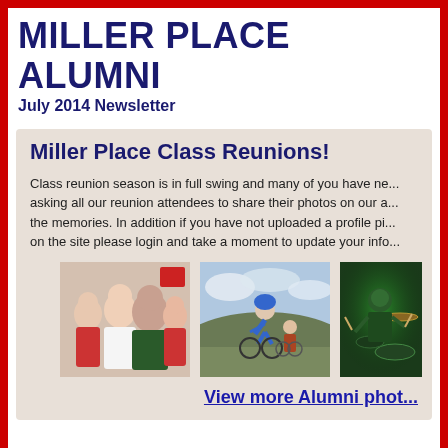MILLER PLACE ALUMNI
July 2014 Newsletter
Miller Place Class Reunions!
Class reunion season is in full swing and many of you have ne... asking all our reunion attendees to share their photos on our a... the memories. In addition if you have not uploaded a profile pi... on the site please login and take a moment to update your info...
[Figure (photo): Family group photo with two adults and two children]
[Figure (photo): Cyclist racing on mountain road]
[Figure (photo): Musician performing with green lighting]
View more Alumni phot...